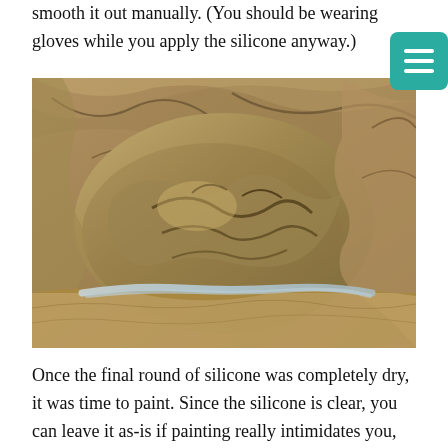smooth it out manually. (You should be wearing gloves while you apply the silicone anyway.)
[Figure (photo): Close-up photograph of a rock or fossil embedded in sandy/earthy sediment, with a visible line of clear silicone sealant running along the base of the rock.]
Once the final round of silicone was completely dry, it was time to paint. Since the silicone is clear, you can leave it as-is if painting really intimidates you, but